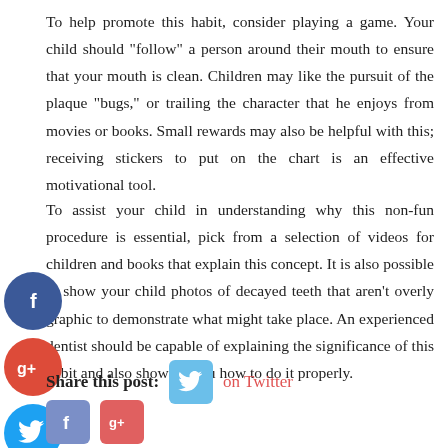To help promote this habit, consider playing a game. Your child should "follow" a person around their mouth to ensure that your mouth is clean. Children may like the pursuit of the plaque "bugs," or trailing the character that he enjoys from movies or books. Small rewards may also be helpful with this; receiving stickers to put on the chart is an effective motivational tool.
To assist your child in understanding why this non-fun procedure is essential, pick from a selection of videos for children and books that explain this concept. It is also possible to show your child photos of decayed teeth that aren't overly graphic to demonstrate what might take place. An experienced dentist should be capable of explaining the significance of this habit and also showing you how to do it properly.
[Figure (infographic): Social media share icons: Facebook (blue circle with f), Google+ (red circle with g+), Twitter (blue circle with bird), and a blue circle with plus sign]
Share this post: on Twitter